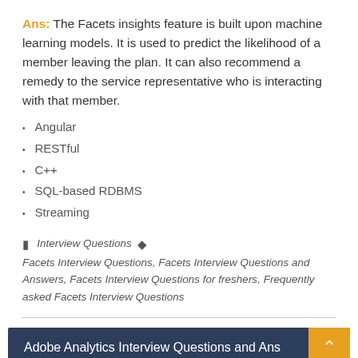Ans: The Facets insights feature is built upon machine learning models. It is used to predict the likelihood of a member leaving the plan. It can also recommend a remedy to the service representative who is interacting with that member.
Angular
RESTful
C++
SQL-based RDBMS
Streaming
Interview Questions  Facets Interview Questions, Facets Interview Questions and Answers, Facets Interview Questions for freshers, Frequently asked Facets Interview Questions
Adobe Analytics Interview Questions and Answers
JBoss Tutorial – JBoss Online Tutorial for